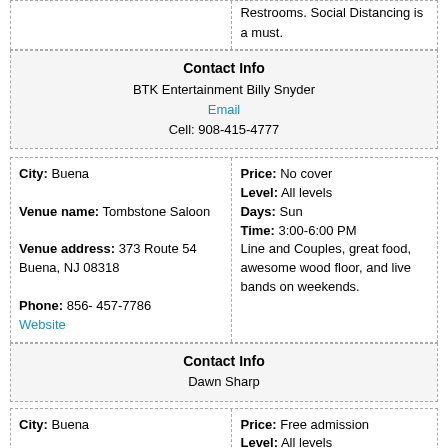|  | Restrooms. Social Distancing is a must. |
| Contact Info |
| --- |
| BTK Entertainment Billy Snyder |
| Email |
| Cell: 908-415-4777 |
| City: Buena
Venue name: Tombstone Saloon
Venue address: 373 Route 54 Buena, NJ 08318
Phone: 856- 457-7786
Website | Price: No cover
Level: All levels
Days: Sun
Time: 3:00-6:00 PM
Line and Couples, great food, awesome wood floor, and live bands on weekends. |
| Contact Info |
| --- |
| Dawn Sharp |
| City: Buena
Venue name: Tombstone Saloon
Venue address: 373 Route 54 Buena, NJ 08318
Phone: 856- 457-7786 | Price: Free admission
Level: All levels
Days: Thurs
Time: 7:00-11:00 PM
Line and Couples, great food, awesome wood floor, |